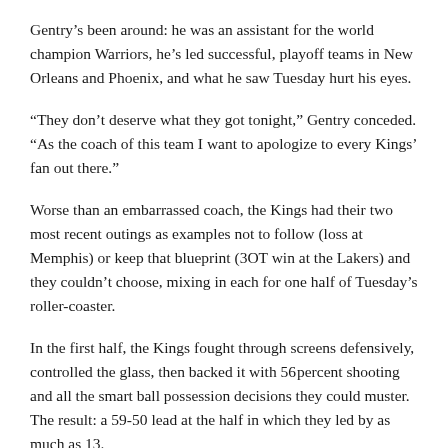Gentry's been around: he was an assistant for the world champion Warriors, he's led successful, playoff teams in New Orleans and Phoenix, and what he saw Tuesday hurt his eyes.
“They don’t deserve what they got tonight,” Gentry conceded. “As the coach of this team I want to apologize to every Kings’ fan out there.”
Worse than an embarrassed coach, the Kings had their two most recent outings as examples not to follow (loss at Memphis) or keep that blueprint (3OT win at the Lakers) and they couldn’t choose, mixing in each for one half of Tuesday’s roller-coaster.
In the first half, the Kings fought through screens defensively, controlled the glass, then backed it with 56 percent shooting and all the smart ball possession decisions they could muster. The result: a 59-50 lead at the half in which they led by as much as 13.